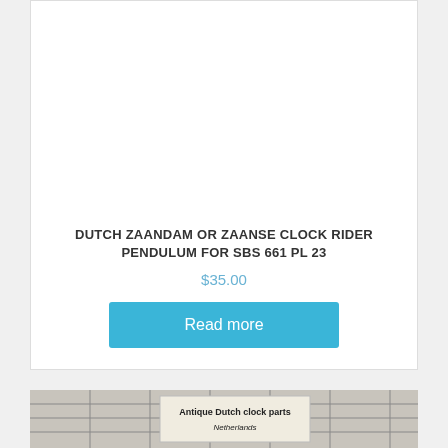[Figure (photo): White empty product image area for clock rider pendulum product]
DUTCH ZAANDAM OR ZAANSE CLOCK RIDER PENDULUM FOR SBS 661 PL 23
$35.00
Read more
[Figure (photo): Photo of antique Dutch clock parts label on grid background, text reads 'Antique Dutch clock parts Netherlands']